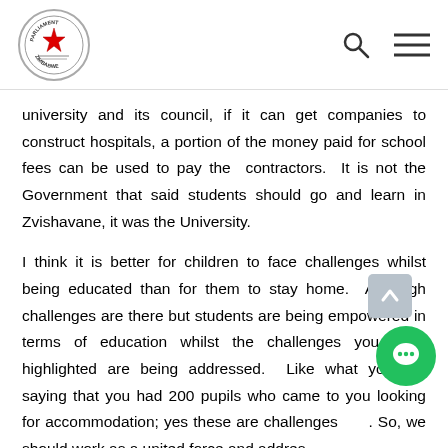Parliament of Zimbabwe header with logo, search icon, and menu icon
university and its council, if it can get companies to construct hospitals, a portion of the money paid for school fees can be used to pay the contractors. It is not the Government that said students should go and learn in Zvishavane, it was the University.
I think it is better for children to face challenges whilst being educated than for them to stay home. Although challenges are there but students are being empowered in terms of education whilst the challenges you have highlighted are being addressed. Like what you are saying that you had 200 pupils who came to you looking for accommodation; yes these are challenges. So, we should work as a united force and address these issues.